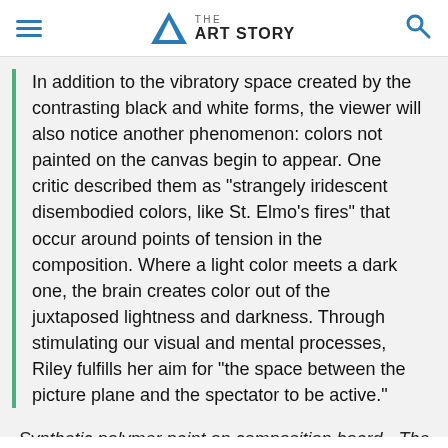THE ART STORY
In addition to the vibratory space created by the contrasting black and white forms, the viewer will also notice another phenomenon: colors not painted on the canvas begin to appear. One critic described them as "strangely iridescent disembodied colors, like St. Elmo's fires" that occur around points of tension in the composition. Where a light color meets a dark one, the brain creates color out of the juxtaposed lightness and darkness. Through stimulating our visual and mental processes, Riley fulfills her aim for "the space between the picture plane and the spectator to be active."
Synthetic polymer paint on composition board - The Museum of Modern Art, New York